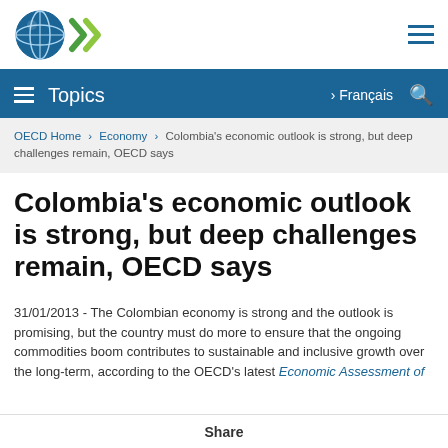[Figure (logo): OECD logo with globe and chevron/arrow symbol]
Topics  › Français 🔍
OECD Home › Economy › Colombia's economic outlook is strong, but deep challenges remain, OECD says
Colombia's economic outlook is strong, but deep challenges remain, OECD says
31/01/2013 - The Colombian economy is strong and the outlook is promising, but the country must do more to ensure that the ongoing commodities boom contributes to sustainable and inclusive growth over the long-term, according to the OECD's latest Economic Assessment of
Share